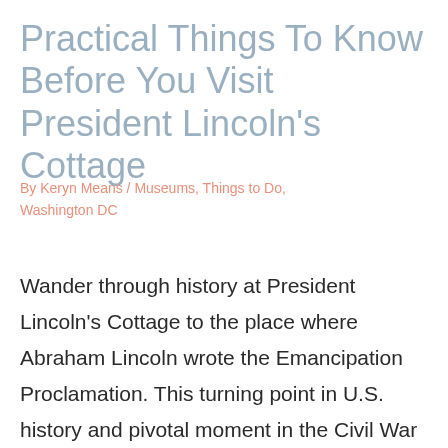Practical Things To Know Before You Visit President Lincoln's Cottage
By Keryn Means / Museums, Things to Do, Washington DC
Wander through history at President Lincoln's Cottage to the place where Abraham Lincoln wrote the Emancipation Proclamation. This turning point in U.S. history and pivotal moment in the Civil War is a must-visit for history buffs, and children learning about the Civil War and slavery in America.